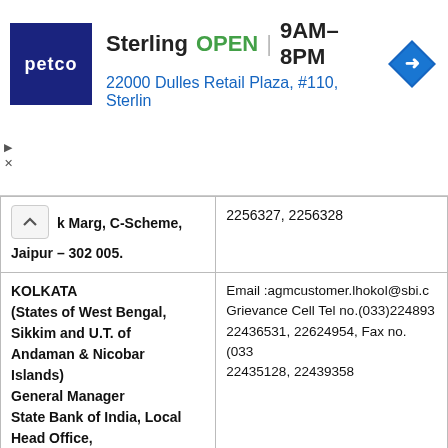[Figure (screenshot): Petco advertisement banner showing store name 'Sterling', status 'OPEN', hours '9AM-8PM', address '22000 Dulles Retail Plaza, #110, Sterlin', Petco logo, and navigation arrow icon]
| k Marg, C-Scheme,
Jaipur – 302 005. | 2256327, 2256328 |
| KOLKATA
(States of West Bengal,
Sikkim and U.T. of
Andaman & Nicobar Islands)
General Manager
State Bank of India, Local Head Office,
'Samriddhi Bhavan,
1, Strand Road ,
Kolkata-700 001. | Email :agmcustomer.lhokol@sbi.c
Grievance Cell Tel no.(033)224893
22436531, 22624954, Fax no. (033
22435128, 22439358 |